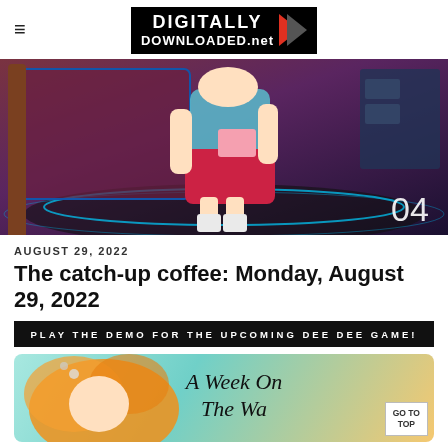≡  DIGITALLY DOWNLOADED.net
[Figure (illustration): Anime-style character in blue top and red skirt in a TV studio setting, with number '04' in bottom right corner]
AUGUST 29, 2022
The catch-up coffee: Monday, August 29, 2022
PLAY THE DEMO FOR THE UPCOMING DEE DEE GAME!
[Figure (illustration): Anime character with orange hair on teal background with text 'A Week On The Wa...' and a 'GO TO TOP' button]